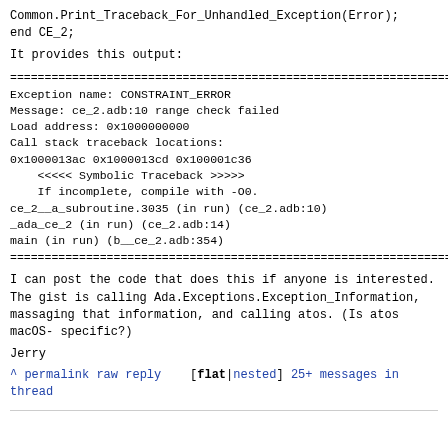Common.Print_Traceback_For_Unhandled_Exception(Error);
end CE_2;
It provides this output:
================================================================
Exception name: CONSTRAINT_ERROR
Message: ce_2.adb:10 range check failed
Load address: 0x1000000000
Call stack traceback locations:
0x1000013ac 0x1000013cd 0x100001c36
    <<<<< Symbolic Traceback >>>>>
    If incomplete, compile with -O0.
ce_2__a_subroutine.3035 (in run) (ce_2.adb:10)
_ada_ce_2 (in run) (ce_2.adb:14)
main (in run) (b__ce_2.adb:354)
================================================================
I can post the code that does this if anyone is interested. The gist is calling Ada.Exceptions.Exception_Information, massaging that information, and calling atos. (Is atos macOS-specific?)
Jerry
^ permalink raw reply   [flat|nested] 25+ messages in thread